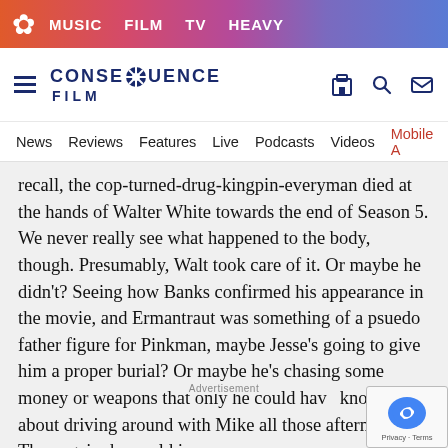MUSIC  FILM  TV  HEAVY
[Figure (logo): Consequence Film logo with snowflake icon, hamburger menu, search and mail icons]
News  Reviews  Features  Live  Podcasts  Videos  Mobile A
recall, the cop-turned-drug-kingpin-everyman died at the hands of Walter White towards the end of Season 5. We never really see what happened to the body, though. Presumably, Walt took care of it. Or maybe he didn't? Seeing how Banks confirmed his appearance in the movie, and Ermantraut was something of a psuedo father figure for Pinkman, maybe Jesse's going to give him a proper burial? Or maybe he's chasing some money or weapons that only he could have known about driving around with Mike all those afternoons? Then again, he could ju...